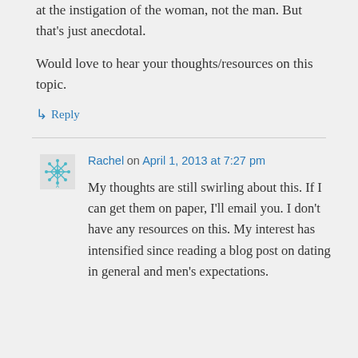at the instigation of the woman, not the man. But that's just anecdotal.
Would love to hear your thoughts/resources on this topic.
↳ Reply
Rachel on April 1, 2013 at 7:27 pm
My thoughts are still swirling about this. If I can get them on paper, I'll email you. I don't have any resources on this. My interest has intensified since reading a blog post on dating in general and men's expectations.